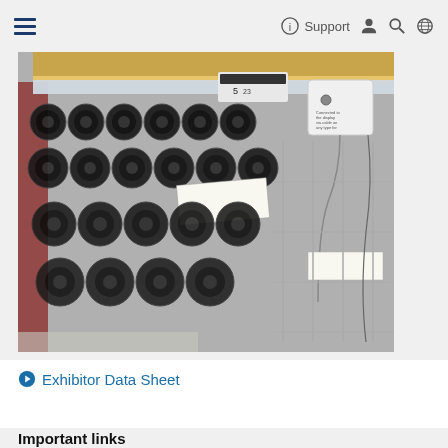≡  Support 🔵 🔍 🌐
[Figure (photo): Retail store shelf display filled with rows of black circular items (likely rolls of ribbon or similar products) arranged in a grid on metal shelving units. A white electronic device and price tags are visible mounted on the shelf edge. The perspective is angled along the length of the aisle.]
➤ Exhibitor Data Sheet
Important links